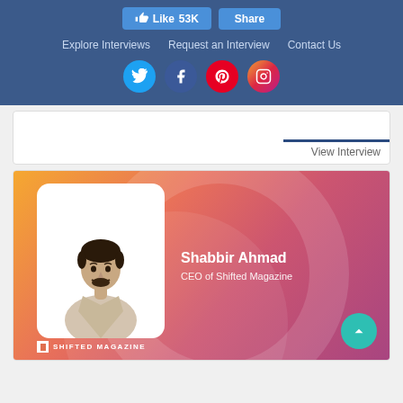[Figure (screenshot): Website navigation bar with Like (53K) and Share buttons, navigation links (Explore Interviews, Request an Interview, Contact Us), and social media icons (Twitter, Facebook, Pinterest, Instagram) on a dark blue background.]
View Interview
[Figure (infographic): Interview card featuring Shabbir Ahmad, CEO of Shifted Magazine. Shows a photo of a young man in a white rounded rectangle frame against a gradient orange-to-pink background with decorative circles. Shifted Magazine logo at bottom left. Scroll-to-top teal button at bottom right.]
Shabbir Ahmad
CEO of Shifted Magazine